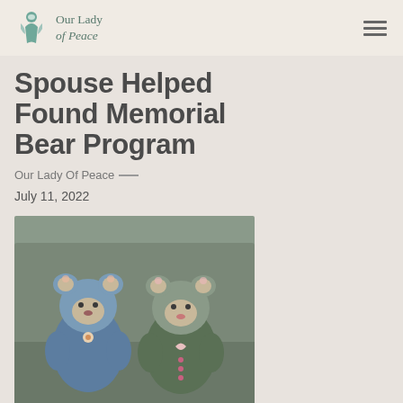Our Lady of Peace
Spouse Helped Found Memorial Bear Program
Our Lady Of Peace —
July 11, 2022
[Figure (photo): Two handmade stuffed bears with floral fabric accents sitting on a grey couch]